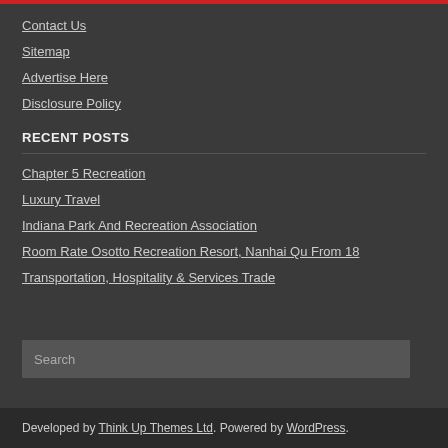Contact Us
Sitemap
Advertise Here
Disclosure Policy
RECENT POSTS
Chapter 5 Recreation
Luxury Travel
Indiana Park And Recreation Association
Room Rate Osotto Recreation Resort, Nanhai Qu From 18
Transportation, Hospitality & Services Trade
Search
Developed by Think Up Themes Ltd. Powered by WordPress.